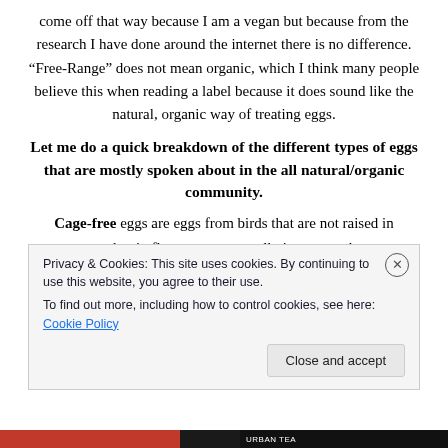come off that way because I am a vegan but because from the research I have done around the internet there is no difference. “Free-Range” does not mean organic, which I think many people believe this when reading a label because it does sound like the natural, organic way of treating eggs.
Let me do a quick breakdown of the different types of eggs that are mostly spoken about in the all natural/organic community.
Cage-free eggs are eggs from birds that are not raised in cages, but in floor systems usually in an open barn
Privacy & Cookies: This site uses cookies. By continuing to use this website, you agree to their use.
To find out more, including how to control cookies, see here: Cookie Policy